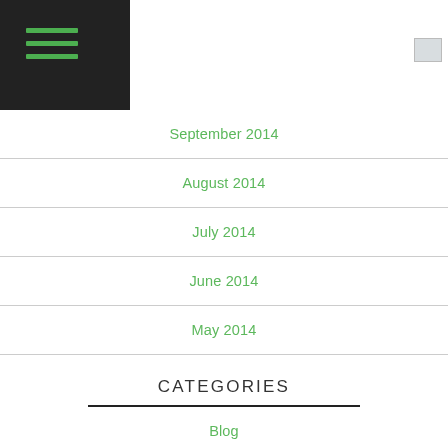[Figure (other): Dark header bar with green hamburger menu icon]
September 2014
August 2014
July 2014
June 2014
May 2014
CATEGORIES
Blog
Our Stories
Pathfinders In Action